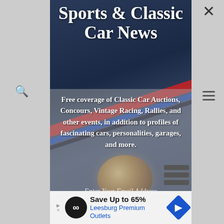Sports & Classic Car News
Free coverage of Classic Car Auctions, Concours, Vintage Racing, Rallies, and other events, in addition to profiles of fascinating cars, personalities, garages, and more.
Enter Your Email Address
[Figure (screenshot): Advertisement banner: Save Up to 65% Leesburg Premium Outlets with infinity logo and navigation arrow]